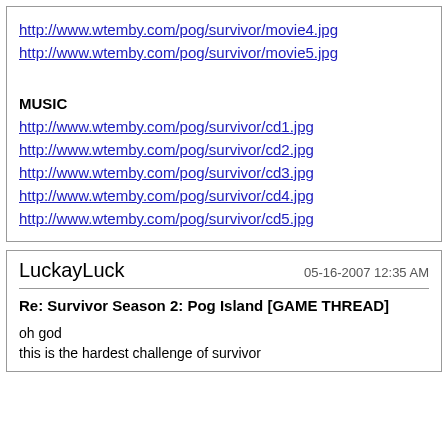http://www.wtemby.com/pog/survivor/movie4.jpg
http://www.wtemby.com/pog/survivor/movie5.jpg
MUSIC
http://www.wtemby.com/pog/survivor/cd1.jpg
http://www.wtemby.com/pog/survivor/cd2.jpg
http://www.wtemby.com/pog/survivor/cd3.jpg
http://www.wtemby.com/pog/survivor/cd4.jpg
http://www.wtemby.com/pog/survivor/cd5.jpg
LuckayLuck  05-16-2007 12:35 AM
Re: Survivor Season 2: Pog Island [GAME THREAD]
oh god
this is the hardest challenge of survivor